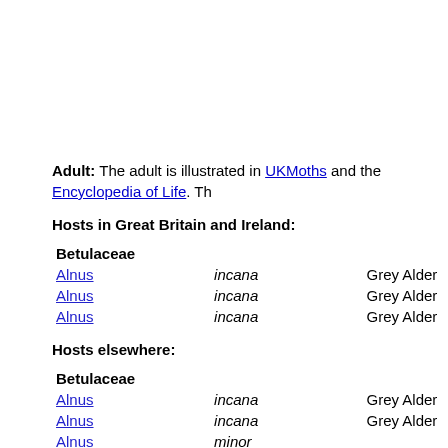Adult: The adult is illustrated in UKMoths and the Encyclopedia of Life. Th
Hosts in Great Britain and Ireland:
| Betulaceae |  |  |
| Alnus | incana | Grey Alder |
| Alnus | incana | Grey Alder |
| Alnus | incana | Grey Alder |
Hosts elsewhere:
| Betulaceae |  |  |
| Alnus | incana | Grey Alder |
| Alnus | incana | Grey Alder |
| Alnus | minor |  |
Time of year - larvae: July, September - October (British leafminers).
Time of year - adults: Two generations, flying in May and late July and Au
Distribution in Great Britain and Ireland: Occurs in widely separated co isolated places ranging from north-west Britain, through Wales and down t Ayrshire, Carmarthenshire, Denbighshire, Dorset, East Kent, East Norfolk,